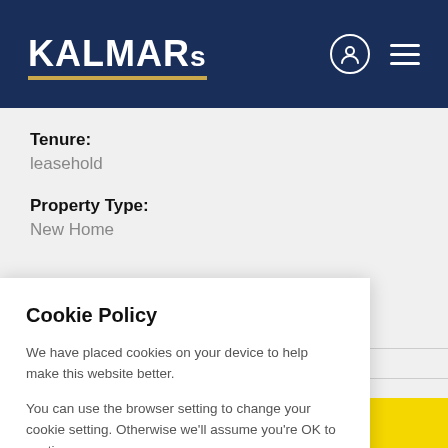KALMARs
Tenure:
leasehold
Property Type:
New Home
Cookie Policy
We have placed cookies on your device to help make this website better.
You can use the browser setting to change your cookie setting. Otherwise we'll assume you're OK to continue.
I'M FINE WITH THIS
PROPERTY ENQUIRY